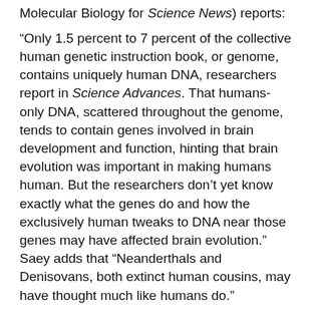Molecular Biology for Science News) reports:
“Only 1.5 percent to 7 percent of the collective human genetic instruction book, or genome, contains uniquely human DNA, researchers report in Science Advances. That humans-only DNA, scattered throughout the genome, tends to contain genes involved in brain development and function, hinting that brain evolution was important in making humans human. But the researchers don’t yet know exactly what the genes do and how the exclusively human tweaks to DNA near those genes may have affected brain evolution.” Saey adds that “Neanderthals and Denisovans, both extinct human cousins, may have thought much like humans do.”